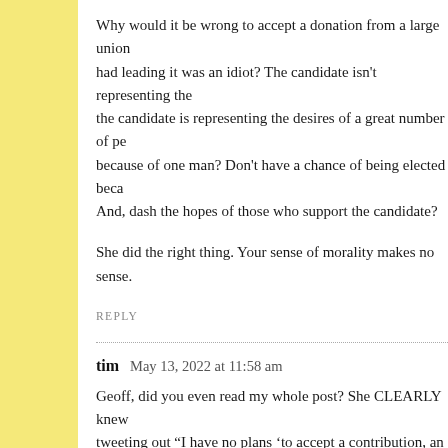Why would it be wrong to accept a donation from a large union if the person who had leading it was an idiot? The candidate isn't representing the candidate is representing the desires of a great number of people. Lose because of one man? Don't have a chance of being elected because of one man? And, dash the hopes of those who support the candidate?
She did the right thing. Your sense of morality makes no sense.
REPLY
tim   May 13, 2022 at 11:58 am
Geoff, did you even read my whole post? She CLEARLY knew — tweeting out "I have no plans 'to accept a contribution, an endorsement, or campaign support from UFCW 135 or the Working Families Coalition while Kasparian is president."
Oh, and she called on Mickey to resign in 2017. Seems like a p